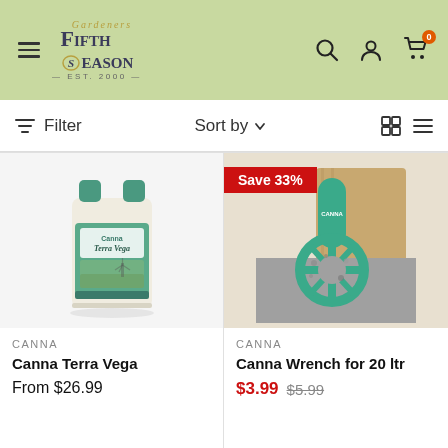[Figure (screenshot): Fifth Season Gardening website header with green background, hamburger menu, Fifth Season logo, search icon, account icon, and cart icon with 0 badge]
[Figure (other): Filter and Sort by bar with grid/list view icons]
[Figure (photo): Canna Terra Vega liquid fertilizer bottle product photo]
CANNA
Canna Terra Vega
From $26.99
[Figure (photo): Canna Wrench for 20 ltr product photo with Save 33% badge]
CANNA
Canna Wrench for 20 ltr
$3.99 $5.99